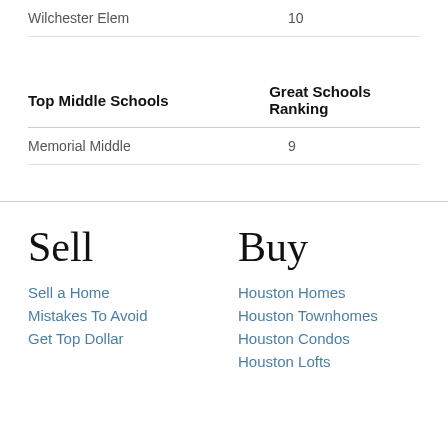| Top Elementary Schools (continued) | Great Schools Ranking |
| --- | --- |
| Wilchester Elem | 10 |
| Top Middle Schools | Great Schools Ranking |
| --- | --- |
| Memorial Middle | 9 |
Sell
Sell a Home
Mistakes To Avoid
Get Top Dollar
Buy
Houston Homes
Houston Townhomes
Houston Condos
Houston Lofts